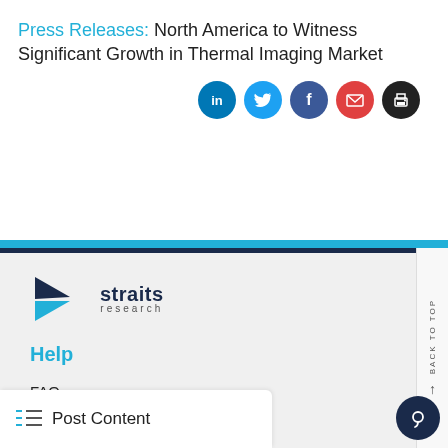Press Releases: North America to Witness Significant Growth in Thermal Imaging Market
[Figure (infographic): Social sharing icons: LinkedIn, Twitter, Facebook, Email, Print]
[Figure (logo): Straits Research logo with arrow icon]
Help
FAQ
Terms & Conditions
Privacy Policy
Return Policy
Post Content